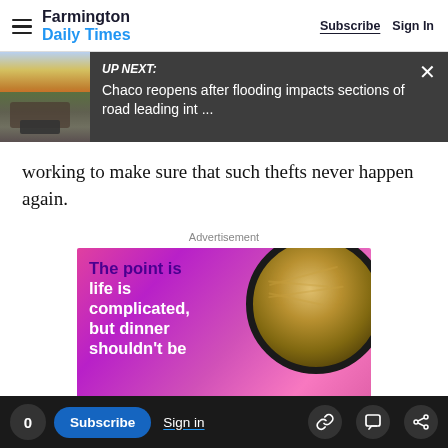Farmington Daily Times  Subscribe  Sign In
[Figure (screenshot): UP NEXT banner with road damage photo thumbnail and text: 'UP NEXT: Chaco reopens after flooding impacts sections of road leading int ...' with close X button]
working to make sure that such thefts never happen again.
Advertisement
[Figure (photo): Advertisement image with pink/purple gradient background and pasta in a cast iron skillet. Text reads: 'The point is life is complicated, but dinner shouldn't be']
0  Subscribe  Sign in  [link icon] [comment icon] [share icon]